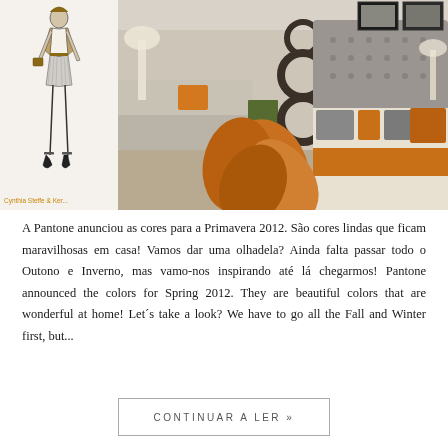[Figure (photo): Left: fashion sketch of a woman in a short pleated skirt and heels (Cynthia Steffe). Right: interior bedroom/living room photo with orange accent pillows, an orange flower, warm neutral tones.]
Cynthia Steffe & Kerba...
A Pantone anunciou as cores para a Primavera 2012. São cores lindas que ficam maravilhosas em casa! Vamos dar uma olhadela? Ainda falta passar todo o Outono e Inverno, mas vamo-nos inspirando até lá chegarmos! Pantone announced the colors for Spring 2012. They are beautiful colors that are wonderful at home! Let´s take a look? We have to go all the Fall and Winter first, but...
CONTINUAR A LER »